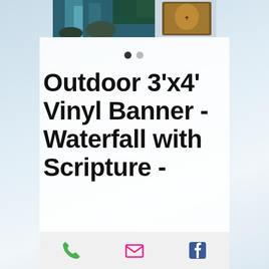[Figure (photo): Waterfall nature scene with scripture vinyl banner product image, showing a waterfall and a badge/emblem in the upper right]
Outdoor 3'x4' Vinyl Banner - Waterfall with Scripture -
[Figure (infographic): Bottom navigation bar with phone, email, and Facebook icons]